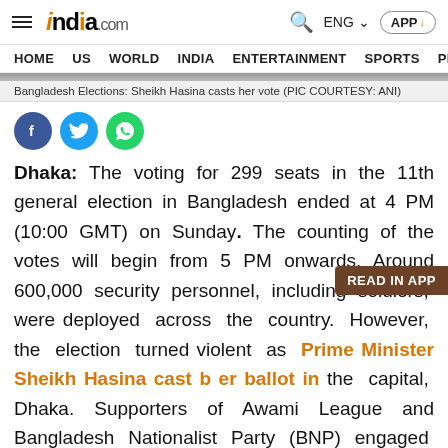india.com — HOME US WORLD INDIA ENTERTAINMENT SPORTS PHO
Bangladesh Elections: Sheikh Hasina casts her vote (PIC COURTESY: ANI)
[Figure (illustration): Social media sharing icons: Facebook (blue), Twitter (light blue), WhatsApp (green)]
Dhaka: The voting for 299 seats in the 11th general election in Bangladesh ended at 4 PM (10:00 GMT) on Sunday. The counting of the votes will begin from 5 PM onwards. Around 600,000 security personnel, including soldiers, were deployed across the country. However, the election turned violent as Prime Minister Sheikh Hasina cast b[allot in] the capital, Dhaka. Supporters of Awami League and Bangladesh Nationalist Party (BNP) engaged in a clash which resulted in the death of atleast 12 people, said